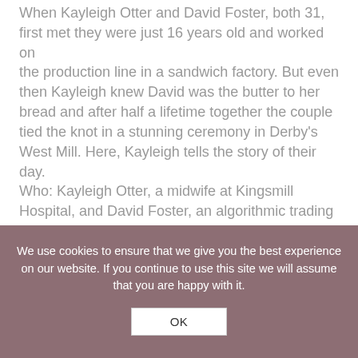When Kayleigh Otter and David Foster, both 31, first met they were just 16 years old and worked on the production line in a sandwich factory. But even then Kayleigh knew David was the butter to her bread and after half a lifetime together the couple tied the knot in a stunning ceremony in Derby's West Mill. Here, Kayleigh tells the story of their day. Who: Kayleigh Otter, a midwife at Kingsmill Hospital, and David Foster, an algorithmic trading
We use cookies to ensure that we give you the best experience on our website. If you continue to use this site we will assume that you are happy with it.